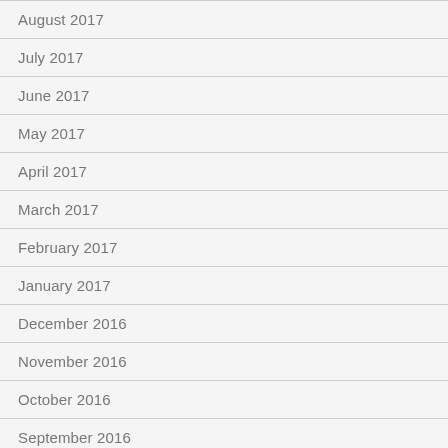August 2017
July 2017
June 2017
May 2017
April 2017
March 2017
February 2017
January 2017
December 2016
November 2016
October 2016
September 2016
August 2016